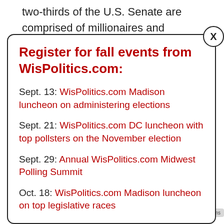two-thirds of the U.S. Senate are comprised of millionaires and billionaires and you're not going to get these types of reforms by sending another millionaire or a billionaire to the U.S. Senate," Nelson said.
Register for fall events from WisPolitics.com:
Sept. 13: WisPolitics.com Madison luncheon on administering elections
Sept. 21: WisPolitics.com DC luncheon with top pollsters on the November election
Sept. 29: Annual WisPolitics.com Midwest Polling Summit
Oct. 18: WisPolitics.com Madison luncheon on top legislative races
going to be not only passing the PRO Act, but also end the filibuster," Lasry said. "Because if we want to be able to